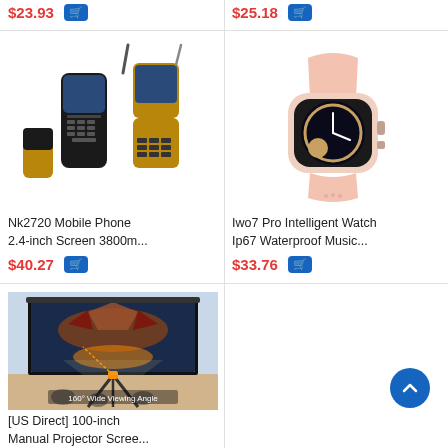$23.93
$25.18
[Figure (photo): Three mobile phones: two black flip/bar phones and one gold flip phone shown closed and open views]
Nk2720 Mobile Phone 2.4-inch Screen 3800m...
$40.27
[Figure (photo): Pink smartwatch (Iwo7 Pro) with analog clock face and pink sport band]
Iwo7 Pro Intelligent Watch Ip67 Waterproof Music...
$33.76
[Figure (photo): 100-inch manual projector screen on tripod in a dark room with a dragon image projected and people sitting on the floor. Text overlay reads: 160° Wide Viewing Angle]
[US Direct] 100-inch Manual Projector Scree...